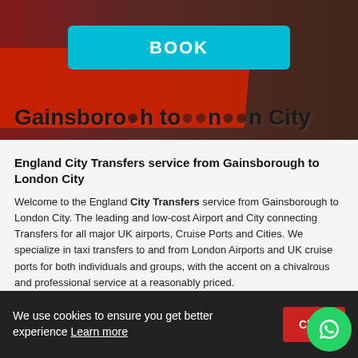[Figure (screenshot): Hero image showing a red London bus background with a dark overlay. A cyan 'BOOK' button is displayed prominently. Text reads 'Gainsborough to London City' at the bottom.]
England City Transfers service from Gainsborough to London City
Welcome to the England City Transfers service from Gainsborough to London City. The leading and low-cost Airport and City connecting Transfers for all major UK airports, Cruise Ports and Cities. We specialize in taxi transfers to and from London Airports and UK cruise ports for both individuals and groups, with the accent on a chivalrous and professional service at a reasonably priced.
We provide safe, reliable, stress-free, and affordable England City Transfers service Gainsborough to London City, seaports and railway stations. Our fixed-price 24-7 services, meet and greeting service for airports and cruise ports p... ight monitoring to check for early or late arrivals and all vehicles are
We use cookies to ensure you get better experience Learn more